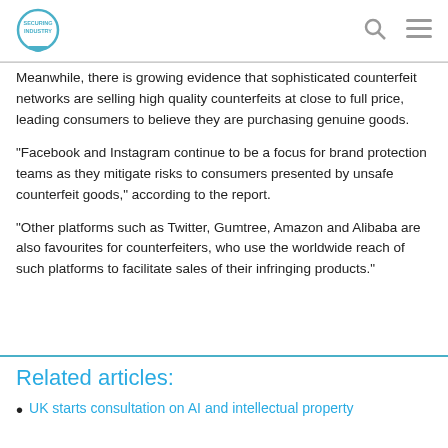Securing Industry
Meanwhile, there is growing evidence that sophisticated counterfeit networks are selling high quality counterfeits at close to full price, leading consumers to believe they are purchasing genuine goods.
“Facebook and Instagram continue to be a focus for brand protection teams as they mitigate risks to consumers presented by unsafe counterfeit goods,” according to the report.
“Other platforms such as Twitter, Gumtree, Amazon and Alibaba are also favourites for counterfeiters, who use the worldwide reach of such platforms to facilitate sales of their infringing products.”
Related articles:
UK starts consultation on AI and intellectual property